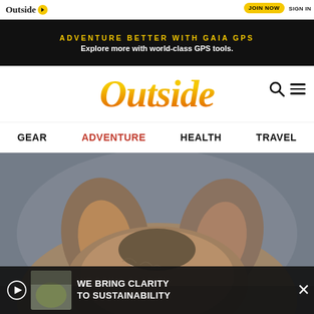Outside  JOIN NOW  SIGN IN
[Figure (screenshot): Advertisement banner: black background with yellow text 'ADVENTURE BETTER WITH GAIA GPS' and white bold text 'Explore more with world-class GPS tools.']
Outside
GEAR  ADVENTURE  HEALTH  TRAVEL
[Figure (photo): Close-up photo of a wolf or dog's head from above, showing two pointed ears and fur dusted with snow, blurred background.]
[Figure (screenshot): Advertisement overlay at bottom: dark background with play icon, thumbnail image, and text 'WE BRING CLARITY TO SUSTAINABILITY' with a close X button.]